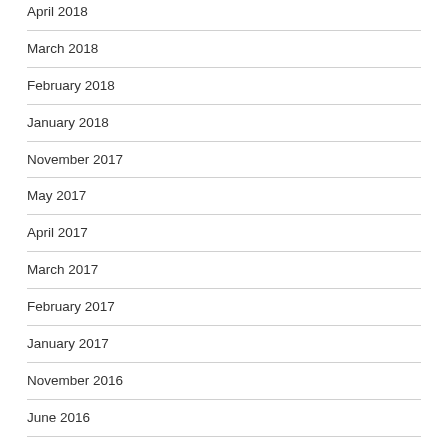April 2018
March 2018
February 2018
January 2018
November 2017
May 2017
April 2017
March 2017
February 2017
January 2017
November 2016
June 2016
January 2016
June 2015